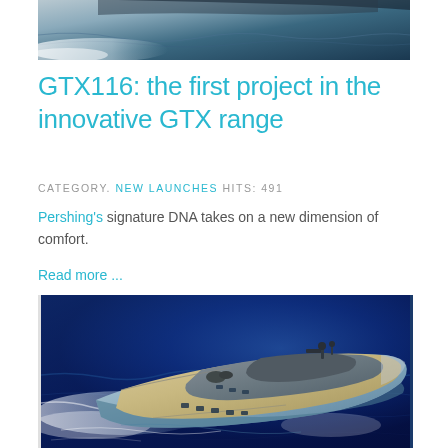[Figure (photo): Top portion of a yacht moving through water at speed, showing white wake and dark water, partially cropped at top of page]
GTX116: the first project in the innovative GTX range
CATEGORY. NEW LAUNCHES HITS: 491
Pershing's signature DNA takes on a new dimension of comfort.
Read more ...
[Figure (photo): Aerial view of a large luxury motor yacht with multiple decks and wooden deck areas, sailing through deep blue sea water, viewed from above at an angle]